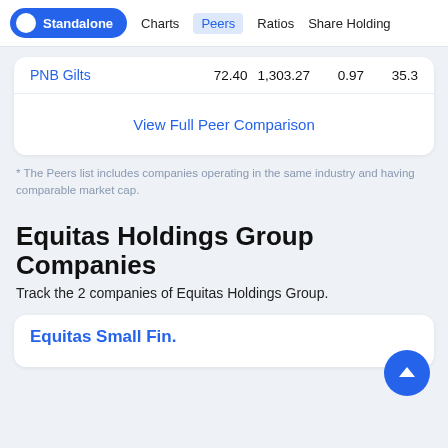Standalone | Charts | Peers | Ratios | Share Holding
| Company | Value1 | Value2 | Value3 | Value4 |
| --- | --- | --- | --- | --- |
| PNB Gilts | 72.40 | 1,303.27 | 0.97 | 35.3 |
View Full Peer Comparison
* The Peers list includes companies operating in the same industry and having comparable market cap.
Equitas Holdings Group Companies
Track the 2 companies of Equitas Holdings Group.
Equitas Small Fin.